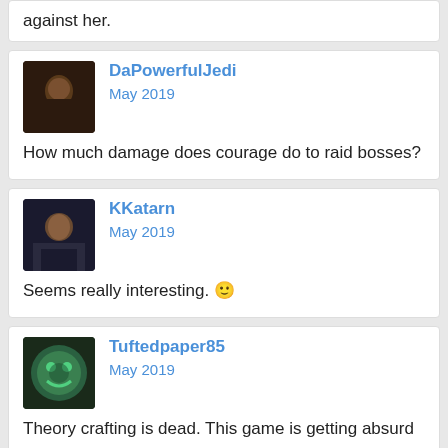against her.
DaPowerfulJedi
May 2019

How much damage does courage do to raid bosses?
KKatarn
May 2019

Seems really interesting. 🙂
Tuftedpaper85
May 2019

Theory crafting is dead. This game is getting absurd
Legend91